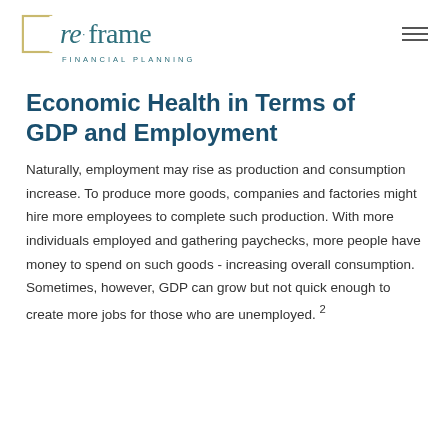re frame FINANCIAL PLANNING
Economic Health in Terms of GDP and Employment
Naturally, employment may rise as production and consumption increase. To produce more goods, companies and factories might hire more employees to complete such production. With more individuals employed and gathering paychecks, more people have money to spend on such goods - increasing overall consumption. Sometimes, however, GDP can grow but not quick enough to create more jobs for those who are unemployed. 2